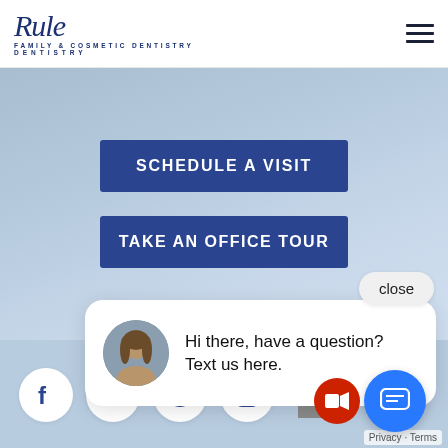[Figure (logo): Rule Family & Cosmetic Dentistry logo in dark navy blue, with italic script 'Rule' and 'DENTISTRY' subtitle text]
[Figure (infographic): Hamburger menu icon (three horizontal bars)]
SCHEDULE A VISIT
TAKE AN OFFICE TOUR
close
[Figure (photo): Chat popup with avatar photo of a woman and text: Hi there, have a question? Text us here.]
Hi there, have a question? Text us here.
[Figure (infographic): Social media icons row: Facebook, YouTube, Pinterest, Instagram]
[Figure (infographic): Blue chat FAB button with message icon]
Privacy · Terms